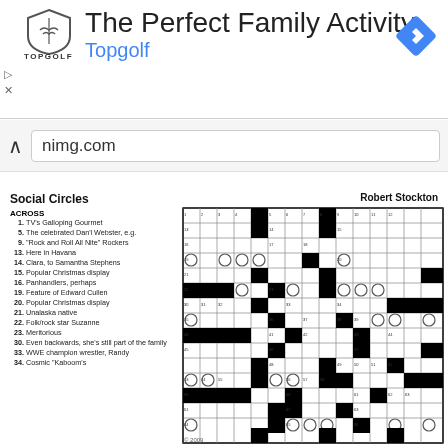[Figure (screenshot): Advertisement banner for Topgolf - The Perfect Family Activity with logo and navigation icon]
nimg.com
Social Circles
Robert Stockton
ACROSS
1. TV's Galloping Gourmet
5. The celebrated Dan'l Webster, e.g.
9. "Rock and Roll All Nite" Rockers
13. Here in Havana
14. Clara, to Samantha Stephens
15. Popular Christmas display
16. Panhandlers, perhaps
19. Feature of Edward Cullen
20. Popular Christmas display
21. Unalaska native
22. Folk/rock star Suzanne
23. Meritorious
30. Even backwards, she's still part of the family
33. WWE champion wrestler, Randy
34. Cosmic "Kaboom's
[Figure (other): Crossword puzzle grid for Social Circles by Robert Stockton, 15x15 grid with black squares and circles]
© 2009